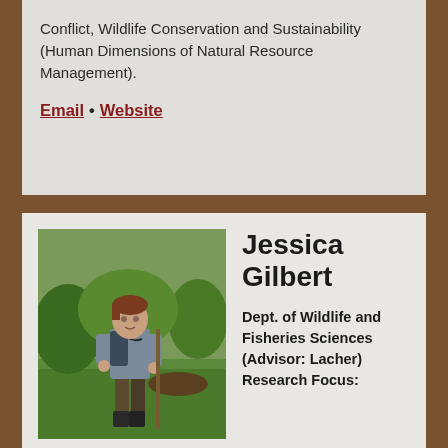Conflict, Wildlife Conservation and Sustainability (Human Dimensions of Natural Resource Management).
Email • Website
[Figure (photo): Photo of Jessica Gilbert, a woman standing outdoors in a green grassy field, wearing a grey jacket and brown pants, with binoculars around her neck and holding a walking stick.]
Jessica Gilbert
Dept. of Wildlife and Fisheries Sciences (Advisor: Lacher) Research Focus: conservation biology, endangered species ecology, biodiversity assessment and protected areas management in the tropics